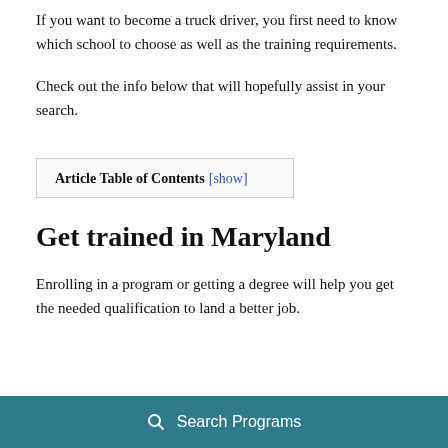If you want to become a truck driver, you first need to know which school to choose as well as the training requirements.
Check out the info below that will hopefully assist in your search.
| Article Table of Contents [show] |
Get trained in Maryland
Enrolling in a program or getting a degree will help you get the needed qualification to land a better job.
Search Programs